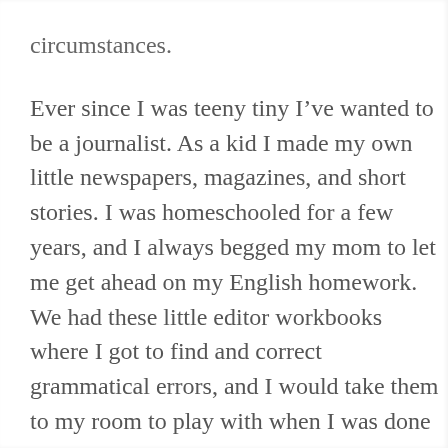circumstances.
Ever since I was teeny tiny I've wanted to be a journalist. As a kid I made my own little newspapers, magazines, and short stories. I was homeschooled for a few years, and I always begged my mom to let me get ahead on my English homework. We had these little editor workbooks where I got to find and correct grammatical errors, and I would take them to my room to play with when I was done with my schoolwork.
When I finally went to college it was really easy picking my major. My school didn't have a journalism program, but we did have communication with a concentration in